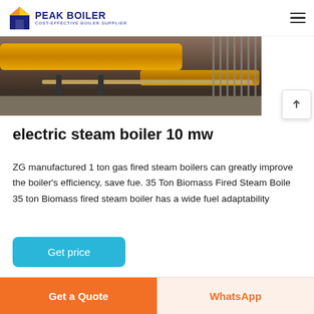PEAK BOILER COST-EFFECTIVE BOILER SUPPLIER
[Figure (photo): Industrial boiler equipment photo showing yellow pipes and machinery in a workshop/factory setting]
electric steam boiler 10 mw
ZG manufactured 1 ton gas fired steam boilers can greatly improve the boiler's efficiency, save fue. 35 Ton Biomass Fired Steam Boile 35 ton Biomass fired steam boiler has a wide fuel adaptability
Get price
Get a Quote
WhatsApp